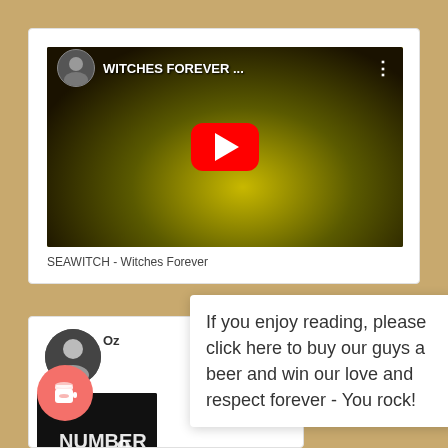[Figure (screenshot): YouTube video thumbnail for SEAWITCH - Witches Forever with dark yellow/green background and red play button]
SEAWITCH - Witches Forever
[Figure (screenshot): Bottom card with avatar, coffee buy-me-a-coffee button, and dark album art showing NUMBER 9]
If you enjoy reading, please click here to buy our guys a beer and win our love and respect forever - You rock!